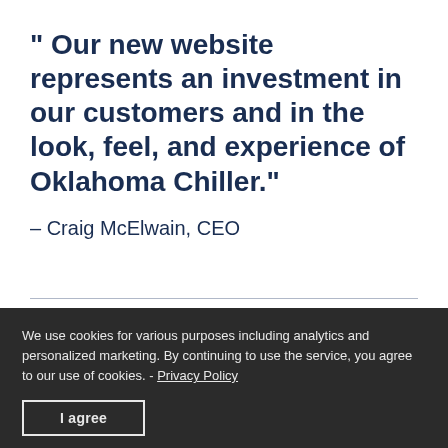" Our new website represents an investment in our customers and in the look, feel, and experience of Oklahoma Chiller."
– Craig McElwain, CEO
We use cookies for various purposes including analytics and personalized marketing. By continuing to use the service, you agree to our use of cookies. - Privacy Policy
I agree